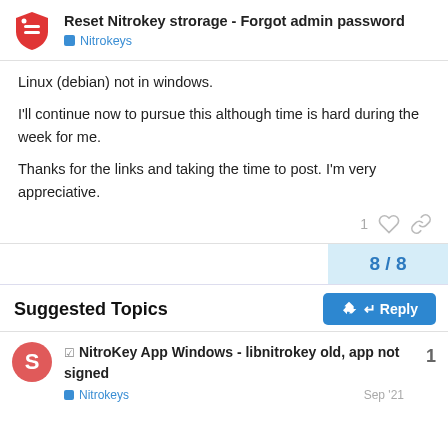Reset Nitrokey strorage - Forgot admin password | Nitrokeys
Linux (debian) not in windows.
I'll continue now to pursue this although time is hard during the week for me.
Thanks for the links and taking the time to post. I'm very appreciative.
1
8 / 8
Suggested Topics
☑ NitroKey App Windows - libnitrokey old, app not signed
Nitrokeys · Sep '21 · 1